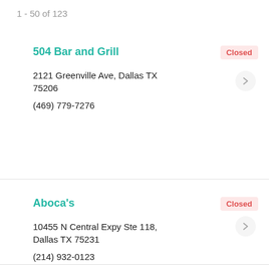1 - 50 of 123
504 Bar and Grill
Closed
2121 Greenville Ave, Dallas TX 75206
(469) 779-7276
Aboca's
Closed
10455 N Central Expy Ste 118, Dallas TX 75231
(214) 932-0123